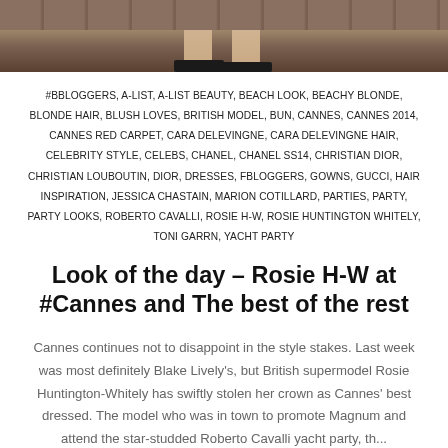[Figure (photo): Bottom portion of a photo showing a woman's legs in high heels on a wooden deck surface, with leopard print fabric visible at the top]
#BBLOGGERS, A-LIST, A-LIST BEAUTY, BEACH LOOK, BEACHY BLONDE, BLONDE HAIR, BLUSH LOVES, BRITISH MODEL, BUN, CANNES, CANNES 2014, CANNES RED CARPET, CARA DELEVINGNE, CARA DELEVINGNE HAIR, CELEBRITY STYLE, CELEBS, CHANEL, CHANEL SS14, CHRISTIAN DIOR, CHRISTIAN LOUBOUTIN, DIOR, DRESSES, FBLOGGERS, GOWNS, GUCCI, HAIR INSPIRATION, JESSICA CHASTAIN, MARION COTILLARD, PARTIES, PARTY, PARTY LOOKS, ROBERTO CAVALLI, ROSIE H-W, ROSIE HUNTINGTON WHITELY, TONI GARRN, YACHT PARTY
Look of the day – Rosie H-W at #Cannes and The best of the rest
Cannes continues not to disappoint in the style stakes. Last week was most definitely Blake Lively's, but British supermodel Rosie Huntington-Whitely has swiftly stolen her crown as Cannes' best dressed. The model who was in town to promote Magnum and attend the star-studded Roberto Cavalli yacht party...